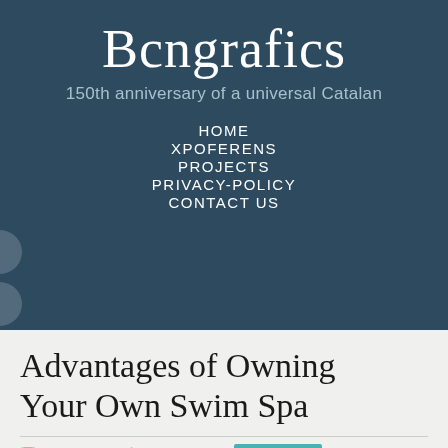Bcngrafics
150th anniversary of a universal Catalan
HOME
XPOFERENS
PROJECTS
PRIVACY-POLICY
CONTACT US
Advantages of Owning Your Own Swim Spa
May 6, 2021   Charlie Ruiz   Business and